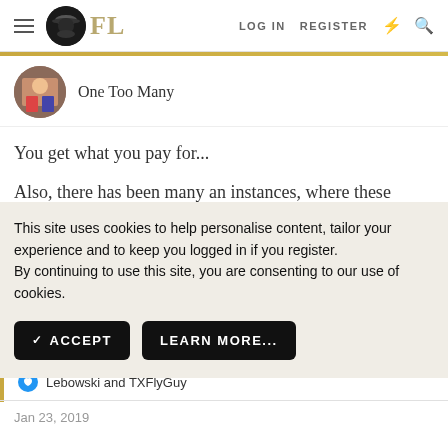FL — LOG IN  REGISTER
One Too Many
You get what you pay for...
Also, there has been many an instances, where these
This site uses cookies to help personalise content, tailor your experience and to keep you logged in if you register.
By continuing to use this site, you are consenting to our use of cookies.
✓ ACCEPT   LEARN MORE...
Lebowski and TXFlyGuy
Jan 23, 2019